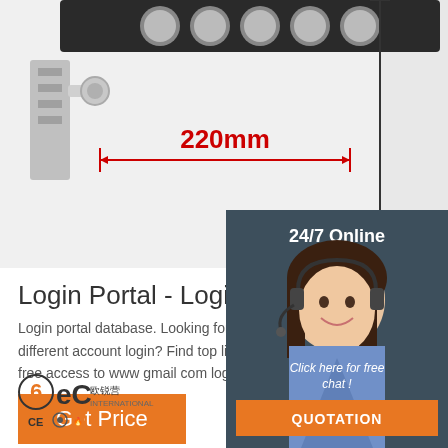[Figure (photo): Product photo showing industrial/mechanical equipment with circular holes visible and a dimension annotation of 220mm with red arrows, on a white background]
[Figure (photo): 24/7 Online customer service panel with dark background featuring a smiling woman with headset, 'Click here for free chat!' text and QUOTATION button]
Login Portal - Login portal dat
Login portal database. Looking for www gma different account login? Find top links for eas free access to www gmail com login different
[Figure (other): Orange 'Get Price' button]
[Figure (logo): BEC/6eC logo with CE certification marks at bottom left]
[Figure (other): TOP navigation icon with orange dots forming a triangle and orange text 'TOP' at bottom right]